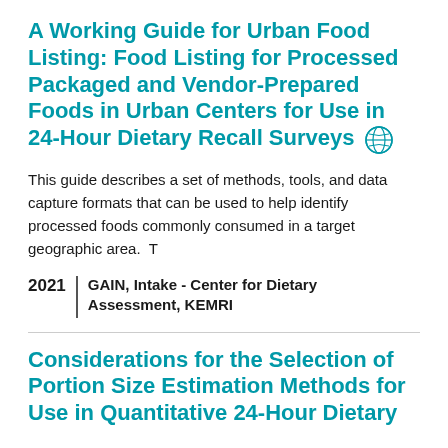A Working Guide for Urban Food Listing: Food Listing for Processed Packaged and Vendor-Prepared Foods in Urban Centers for Use in 24-Hour Dietary Recall Surveys
This guide describes a set of methods, tools, and data capture formats that can be used to help identify processed foods commonly consumed in a target geographic area.  T
2021 | GAIN, Intake - Center for Dietary Assessment, KEMRI
Considerations for the Selection of Portion Size Estimation Methods for Use in Quantitative 24-Hour Dietary